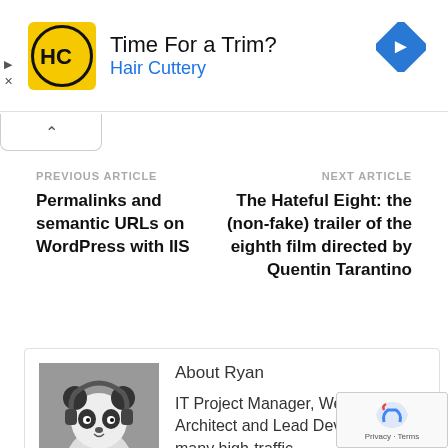[Figure (infographic): Advertisement banner: Hair Cuttery 'Time For a Trim?' ad with yellow HC logo, blue arrow navigation icon, and ad controls]
[Figure (other): Collapse/accordion tab with upward chevron arrow]
PREVIOUS ARTICLE
NEXT ARTICLE
Permalinks and semantic URLs on WordPress with IIS
The Hateful Eight: the (non-fake) trailer of the eighth film directed by Quentin Tarantino
[Figure (photo): Black and white illustration/photo of a panda character wearing headphones at a DJ turntable]
About Ryan
IT Project Manager, Web Interface Architect and Lead Developer for many high-traffic